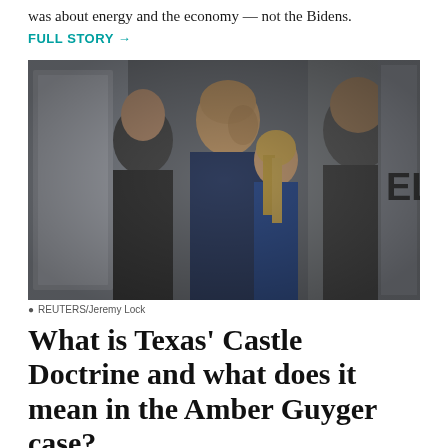was about energy and the economy — not the Bidens. FULL STORY →
[Figure (photo): People standing in an elevator. A bald man in the center with a younger blonde woman behind him, flanked by other individuals. Partial text 'EL' visible on right side of elevator door.]
REUTERS/Jeremy Lock
What is Texas' Castle Doctrine and what does it mean in the Amber Guyger case?